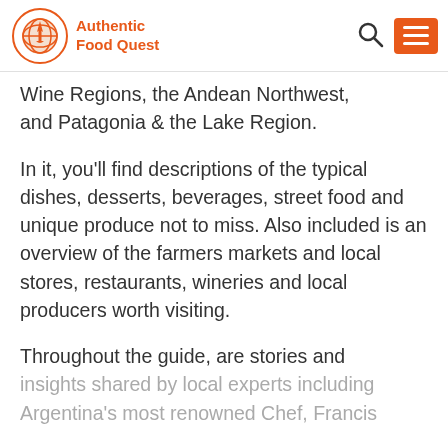Authentic Food Quest
Wine Regions, the Andean Northwest, and Patagonia & the Lake Region.
In it, you'll find descriptions of the typical dishes, desserts, beverages, street food and unique produce not to miss. Also included is an overview of the farmers markets and local stores, restaurants, wineries and local producers worth visiting.
Throughout the guide, are stories and insights shared by local experts including Argentina's most renowned Chef, Francis